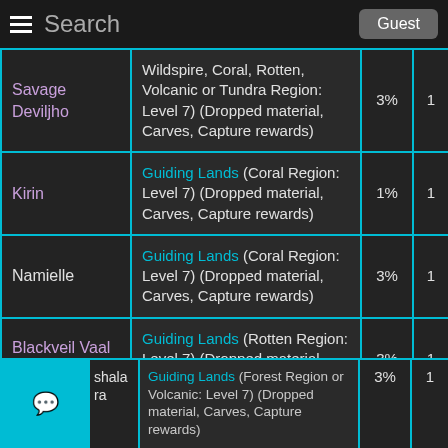Search   Guest
| Monster | Source | % | Qty |
| --- | --- | --- | --- |
| Savage Deviljho | Wildspire, Coral, Rotten, Volcanic or Tundra Region: Level 7) (Dropped material, Carves, Capture rewards) | 3% | 1 |
| Kirin | Guiding Lands (Coral Region: Level 7) (Dropped material, Carves, Capture rewards) | 1% | 1 |
| Namielle | Guiding Lands (Coral Region: Level 7) (Dropped material, Carves, Capture rewards) | 3% | 1 |
| Blackveil Vaal Hazak | Guiding Lands (Rotten Region: Level 7) (Dropped material, Carves, Capture rewards) | 3% | 1 |
| ...shala ...ra | Guiding Lands (Forest Region or Volcanic: Level 7) (Dropped material, Carves, Capture rewards) | 3% | 1 |